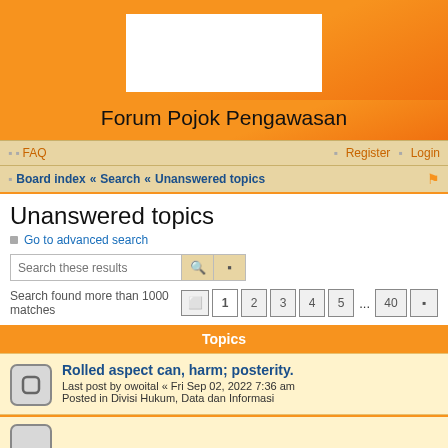[Figure (logo): White rectangle logo placeholder on orange gradient background]
Forum Pojok Pengawasan
FAQ   Register   Login
Board index « Search « Unanswered topics
Unanswered topics
Go to advanced search
Search these results
Search found more than 1000 matches  1 2 3 4 5 ... 40
Topics
Rolled aspect can, harm; posterity.
Last post by owoital « Fri Sep 02, 2022 7:36 am
Posted in Divisi Hukum, Data dan Informasi